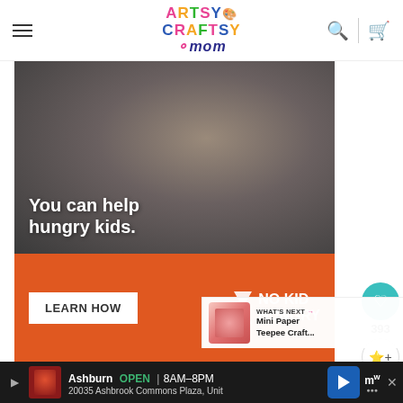Artsy Craftsy Mom - navigation header with hamburger menu, logo, search and cart icons
[Figure (photo): No Kid Hungry advertisement banner. Top portion shows a child eating, with white bold text overlay reading 'You can help hungry kids.' Bottom orange section has a white 'LEARN HOW' button and the No Kid Hungry logo on the right.]
393
WHAT'S NEXT → Mini Paper Teepee Craft...
(c)ArtsyCra...
Ashburn OPEN | 8AM–8PM  20035 Ashbrook Commons Plaza, Unit